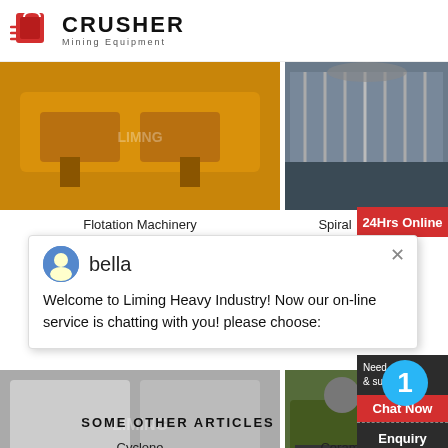CRUSHER Mining Equipment
[Figure (photo): Yellow Flotation Machinery equipment on a warehouse floor with LIMING watermark]
[Figure (photo): Spiral classifier industrial equipment with metal structure]
Flotation Machinery
Spiral
24Hrs Online
bella
Welcome to Liming Heavy Industry! Now our on-line service is chatting with you! please choose:
[Figure (photo): Cyclone equipment with LIMING watermark]
[Figure (photo): Ceramic equipment on truck]
Cyclone
Ceram
Need
& sugg
Chat Now
Enquiry
limingjlmofen
@sina.com
SOME OTHER ARTICLES